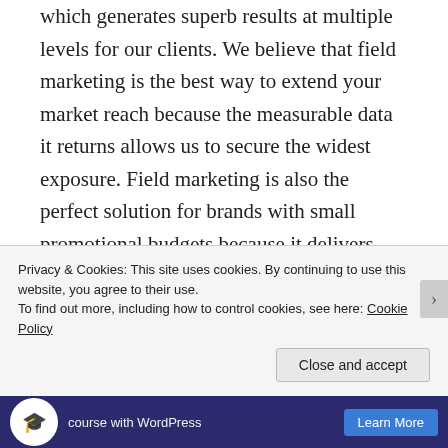which generates superb results at multiple levels for our clients. We believe that field marketing is the best way to extend your market reach because the measurable data it returns allows us to secure the widest exposure. Field marketing is also the perfect solution for brands with small promotional budgets because it delivers incremental results even in times of economic downturn. Studies have shown that the field marketing channel compliments rather than
Privacy & Cookies: This site uses cookies. By continuing to use this website, you agree to their use.
To find out more, including how to control cookies, see here: Cookie Policy
Close and accept
course with WordPress    Learn More